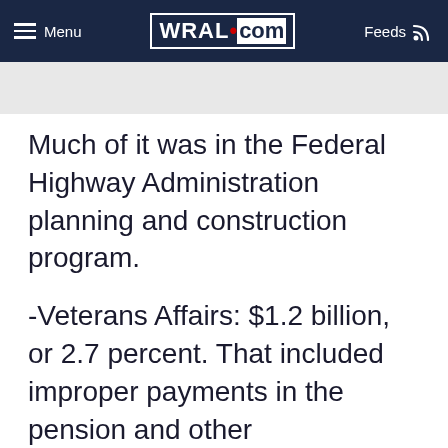Menu | WRAL.com | Feeds
Much of it was in the Federal Highway Administration planning and construction program.
-Veterans Affairs: $1.2 billion, or 2.7 percent. That included improper payments in the pension and other compensation programs.
-Social Security Administration: $8.0 billion, or 1.2 percent.